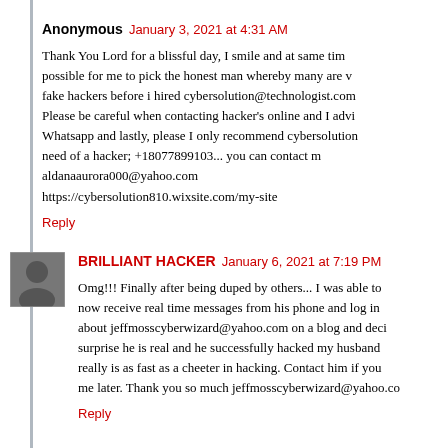Anonymous  January 3, 2021 at 4:31 AM
Thank You Lord for a blissful day, I smile and at same time possible for me to pick the honest man whereby many are fake hackers before i hired cybersolution@technologist.com Please be careful when contacting hacker's online and I advi Whatsapp and lastly, please I only recommend cybersolution need of a hacker; +18077899103... you can contact m aldanaaurora000@yahoo.com https://cybersolution810.wixsite.com/my-site
Reply
BRILLIANT HACKER  January 6, 2021 at 7:19 PM
Omg!!! Finally after being duped by others... I was able to now receive real time messages from his phone and log in about jeffmosscyberwizard@yahoo.com on a blog and deci surprise he is real and he successfully hacked my husband really is as fast as a cheeter in hacking. Contact him if you me later. Thank you so much jeffmosscyberwizard@yahoo.co
Reply